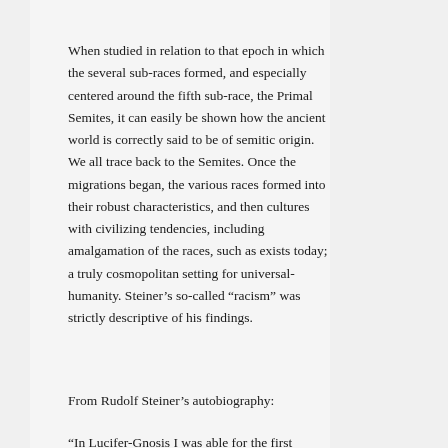When studied in relation to that epoch in which the several sub-races formed, and especially centered around the fifth sub-race, the Primal Semites, it can easily be shown how the ancient world is correctly said to be of semitic origin. We all trace back to the Semites. Once the migrations began, the various races formed into their robust characteristics, and then cultures with civilizing tendencies, including amalgamation of the races, such as exists today; a truly cosmopolitan setting for universal-humanity. Steiner’s so-called “racism” was strictly descriptive of his findings.
From Rudolf Steiner’s autobiography:
“In Lucifer-Gnosis I was able for the first